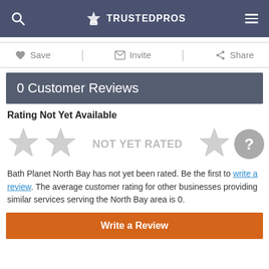TRUSTEDPROS
Save | Invite | Share
0 Customer Reviews
Rating Not Yet Available
[Figure (other): Five gray stars with NOT YET RATED text and a question mark circle]
Bath Planet North Bay has not yet been rated. Be the first to write a review. The average customer rating for other businesses providing similar services serving the North Bay area is 0.
Write a Review